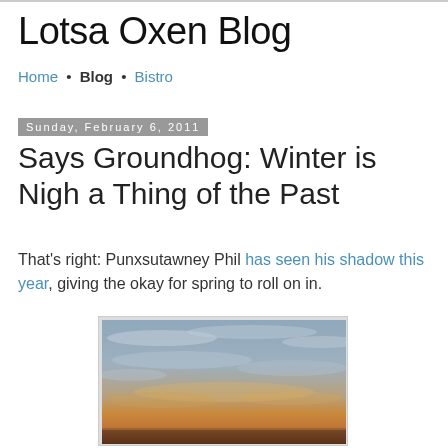Lotsa Oxen Blog
Home • Blog • Bistro
Sunday, February 6, 2011
Says Groundhog: Winter is Nigh a Thing of the Past
That's right: Punxsutawney Phil has seen his shadow this year, giving the okay for spring to roll on in.
[Figure (photo): Sunset photo showing a cloudy sky with warm orange and golden tones near the horizon, transitioning to grey-blue tones higher up.]